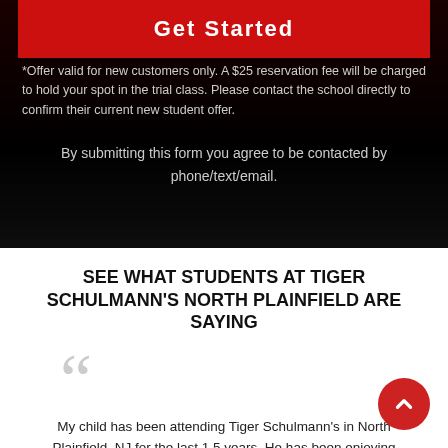Get Started
*Offer valid for new customers only. A $25 reservation fee will be charged to hold your spot in the trial class. Please contact the school directly to confirm their current new student offer.
By submitting this form you agree to be contacted by phone/text/email.
SEE WHAT STUDENTS AT TIGER SCHULMANN'S NORTH PLAINFIELD ARE SAYING
My child has been attending Tiger Schulmann's in North Plainfield, NJ for the last 1.5 years. He has been enjoying it and has made good progress. The environment is very conducive for him with the right balance of discipline, encouragement and